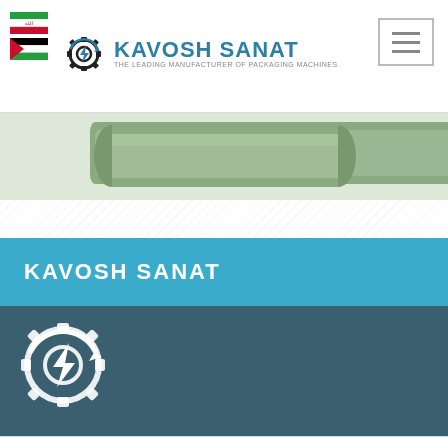[Figure (logo): Kavosh Sanat logo with gear/lightning bolt icon and teal text]
[Figure (photo): Green chocolate packaging machine bar/component on light background]
Kavosh Sanat chocolate packaging mahchine
Thursday, September 5, 2019
KAVOSH SANAT
Designer and manufacturer of a complete line of packaging machines for food with 36 months gaurantee for all parts and 10 years of after sale services.
[Figure (infographic): Four social media circular icons: Telegram, Instagram, film reel, Facebook]
LATEST EVENTS